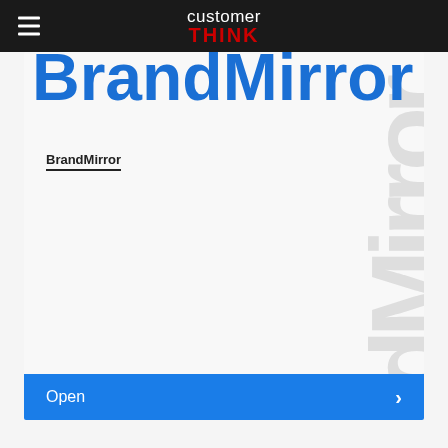customer THINK
BrandMirror
[Figure (logo): Large watermark text 'BrandMirror' displayed vertically in light gray, decorative background element]
BrandMirror
Open